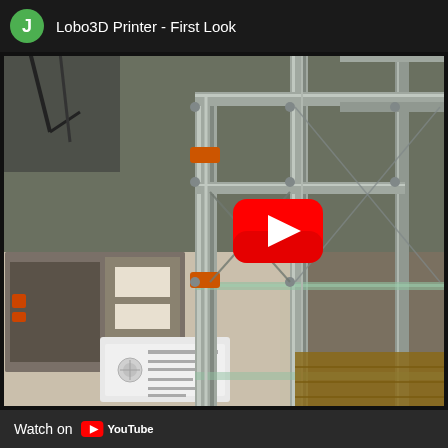J  Lobo3D Printer - First Look
[Figure (screenshot): YouTube video thumbnail showing a Lobo3D printer frame made of metal extrusions with glass shelves, various electronic components and boxes on the floor, and a red YouTube play button overlay in the center-right area.]
Watch on YouTube